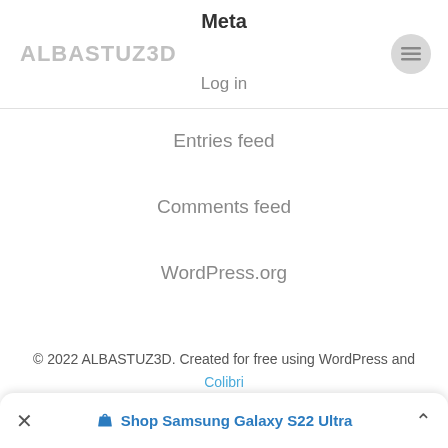ALBASTUZ3D
Meta
Log in
Entries feed
Comments feed
WordPress.org
© 2022 ALBASTUZ3D. Created for free using WordPress and Colibri
Shop Samsung Galaxy S22 Ultra